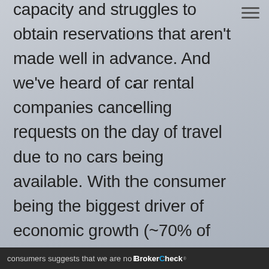capacity and struggles to obtain reservations that aren't made well in advance. And we've heard of car rental companies cancelling requests on the day of travel due to no cars being available. With the consumer being the biggest driver of economic growth (~70% of GDP) and services representing a larger portion of spend than goods, it is difficult to envision a recession in this environment. We are not saying that this type of spending will last indefinitely, but the willingness and ability to spend by consumers suggests that we are no...
consumers suggests that we are no... BrokerCheck